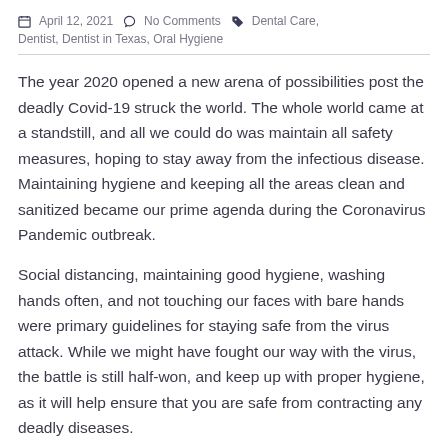April 12, 2021  No Comments  Dental Care, Dentist, Dentist in Texas, Oral Hygiene
The year 2020 opened a new arena of possibilities post the deadly Covid-19 struck the world. The whole world came at a standstill, and all we could do was maintain all safety measures, hoping to stay away from the infectious disease. Maintaining hygiene and keeping all the areas clean and sanitized became our prime agenda during the Coronavirus Pandemic outbreak.
Social distancing, maintaining good hygiene, washing hands often, and not touching our faces with bare hands were primary guidelines for staying safe from the virus attack. While we might have fought our way with the virus, the battle is still half-won, and keep up with proper hygiene, as it will help ensure that you are safe from contracting any deadly diseases.